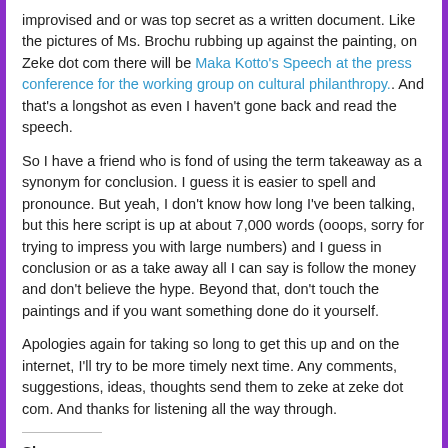improvised and or was top secret as a written document. Like the pictures of Ms. Brochu rubbing up against the painting, on Zeke dot com there will be Maka Kotto's Speech at the press conference for the working group on cultural philanthropy.. And that's a longshot as even I haven't gone back and read the speech.
So I have a friend who is fond of using the term takeaway as a synonym for conclusion. I guess it is easier to spell and pronounce. But yeah, I don't know how long I've been talking, but this here script is up at about 7,000 words (ooops, sorry for trying to impress you with large numbers) and I guess in conclusion or as a take away all I can say is follow the money and don't believe the hype. Beyond that, don't touch the paintings and if you want something done do it yourself.
Apologies again for taking so long to get this up and on the internet, I'll try to be more timely next time. Any comments, suggestions, ideas, thoughts send them to zeke at zeke dot com. And thanks for listening all the way through.
Share:
[Figure (infographic): Row of social media sharing icons: Facebook (blue), Twitter (light blue), LinkedIn (dark blue), Reddit (light grey), Pinterest (red), Tumblr (dark navy), Email (grey)]